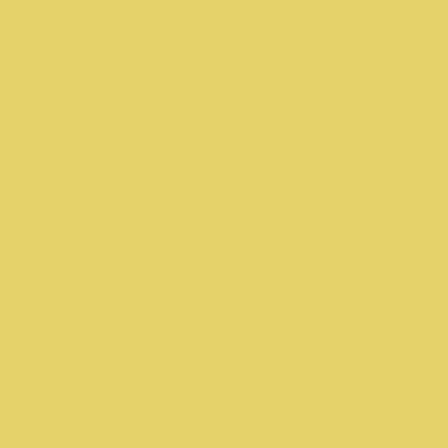The Court System has been notified that an employee at (400 Carleton Avenue, C... last reported to the courthouse... notifications are being m...
New York City Housing
The Court System has been notified... Bronx County (1118 Gra... employee last reported to... notifications are being m...
Washington County Co...
The Court System has been notified... Broadway, Ft. Edward, N... the courthouse on April 1... made.
Bronx County Supreme
The Court System has been notified... Criminal Term (265 East... employee last reported to... and notifications are bein...